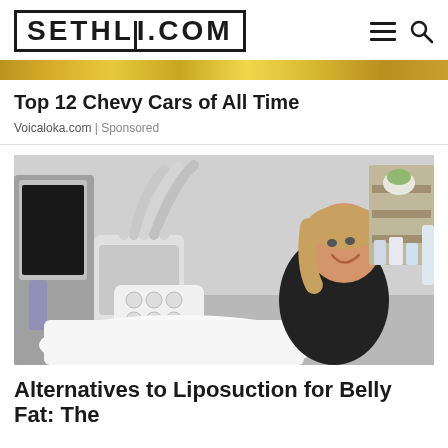SETHLUI.COM
Top 12 Chevy Cars of All Time
Voicaloka.com | Sponsored
[Figure (photo): A woman smiling while lying on a treatment bed with a CoolSculpting or liposuction-alternative medical device attached, multiple tubes and applicators visible, in a clinical/spa setting with shelves, plants, and bottles in the background.]
Alternatives to Liposuction for Belly Fat: The